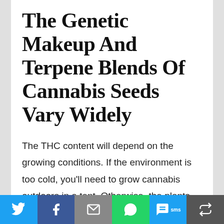The Genetic Makeup And Terpene Blends Of Cannabis Seeds Vary Widely
The THC content will depend on the growing conditions. If the environment is too cold, you'll need to grow cannabis outdoors in a tent. Otherwise, the plants won't produce the desired effects. The best option for outdoor cultivation is to purchase a seed that's hardy to extreme temperatures. These strains will produce large
[Figure (infographic): Social sharing toolbar with icons for Twitter, Facebook, Email, WhatsApp, SMS, and a share/repost button on a colored bar at the bottom of the page.]